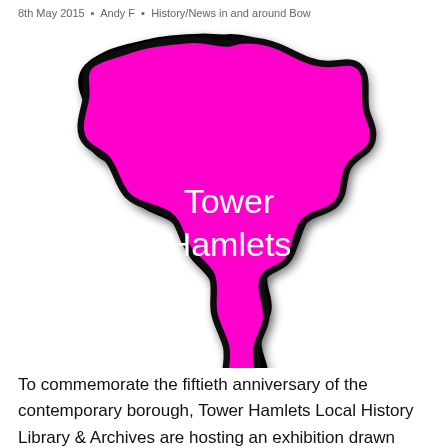8th May 2015  Andy F  History/News in and around Bow
[Figure (map): A bright magenta/pink silhouette map of the London Borough of Tower Hamlets with a thick black outline, with white text reading 'Tower Hamlets' in the centre of the shape. The shape has an irregular outline with a narrow southern protrusion.]
To commemorate the fiftieth anniversary of the contemporary borough, Tower Hamlets Local History Library & Archives are hosting an exhibition drawn